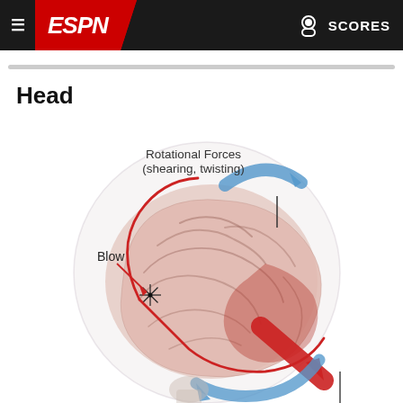ESPN
Head
[Figure (illustration): Medical illustration of a human brain inside a transparent skull showing the effects of a blow to the head. A red arrow labeled 'Blow' points to an impact site on the left side of the skull with a starburst impact marker. Red curved arrows show the brain movement path. A blue curved arrow at the top right labeled 'Rotational Forces (shearing, twisting)' shows rotational motion. A large red arrow points to the lower right indicating the direction of brain movement. A blue arrow at the bottom curves around the base.]